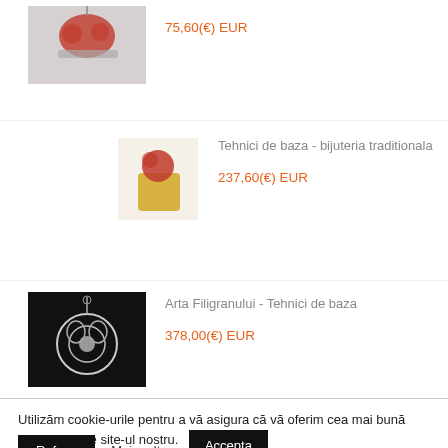[Figure (photo): Jewelry item - necklace with red and silver pendant]
75,60(€) EUR
[Figure (photo): Gold and red jewelry ring/pendant]
Tehnici de baza - bijuteria traditionala
237,60(€) EUR
[Figure (photo): Silver filigree necklace on black background]
Arta Filigranului - Tehnici de baza
378,00(€) EUR
Utilizăm cookie-urile pentru a vă asigura că vă oferim cea mai bună experiență pe site-ul nostru.
Accepta
Refuza
Mai mult